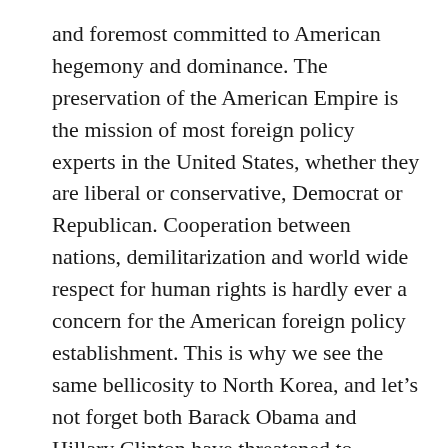and foremost committed to American hegemony and dominance. The preservation of the American Empire is the mission of most foreign policy experts in the United States, whether they are liberal or conservative, Democrat or Republican. Cooperation between nations, demilitarization and world wide respect for human rights is hardly ever a concern for the American foreign policy establishment. This is why we see the same bellicosity to North Korea, and let’s not forget both Barack Obama and Hillary Clinton have threatened to destroy North Korea themselves.
I think not just for imperialism, but for our culture of militarism, violence and our